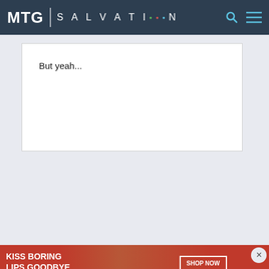MTG | SALVATION
But yeah...
[Figure (photo): Macy's advertisement banner showing a woman with red lips and text 'KISS BORING LIPS GOODBYE' with 'SHOP NOW' button and Macy's star logo]